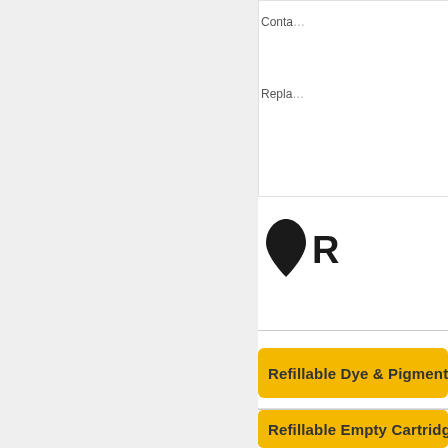Conta...
Repla...
[Figure (illustration): Black ink drop logo with letter R]
Refillable Dye & Pigment I...
Multip... pigme...
Refilla...
Colou...
Conta...
Repla...
Refillable Empty Cartridg...